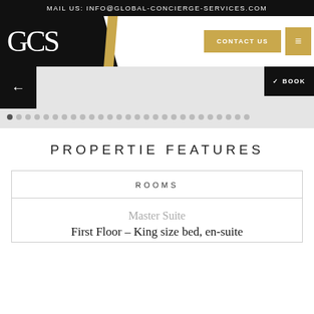MAIL US: INFO@GLOBAL-CONCIERGE-SERVICES.COM
[Figure (logo): GCS logo in white serif italic text on black background with gold diagonal slash]
CONTACT US
[Figure (screenshot): Navigation slider area with left arrow button, row of dots, and right BOOK button]
PROPERTIE FEATURES
| ROOMS |
| --- |
| Master Suite |
| First Floor – King size bed, en-suite |
Master Suite
First Floor – King size bed, en-suite